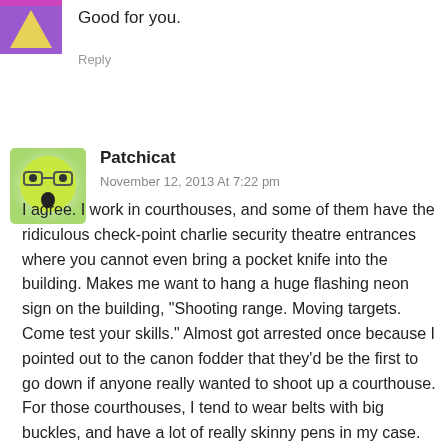[Figure (illustration): Partial avatar image at top-left corner, appears to be a triangular/colorful icon, partially visible]
Good for you.
Reply
[Figure (illustration): Green cartoon face avatar with glasses and open mouth, rounded square shape with gradient background]
Patchicat
November 12, 2013 At 7:22 pm
I agree. I work in courthouses, and some of them have the ridiculous check-point charlie security theatre entrances where you cannot even bring a pocket knife into the building. Makes me want to hang a huge flashing neon sign on the building, "Shooting range. Moving targets. Come test your skills." Almost got arrested once because I pointed out to the canon fodder that they'd be the first to go down if anyone really wanted to shoot up a courthouse. For those courthouses, I tend to wear belts with big buckles, and have a lot of really skinny pens in my case.